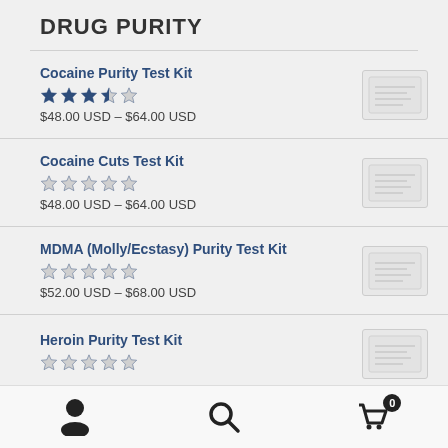DRUG PURITY
Cocaine Purity Test Kit — ★★★☆☆ (3.5/5) — $48.00 USD – $64.00 USD
Cocaine Cuts Test Kit — ☆☆☆☆☆ (0/5) — $48.00 USD – $64.00 USD
MDMA (Molly/Ecstasy) Purity Test Kit — ★★★★☆ (3.5/5) — $52.00 USD – $68.00 USD
Heroin Purity Test Kit — ★★★☆☆ (3/5)